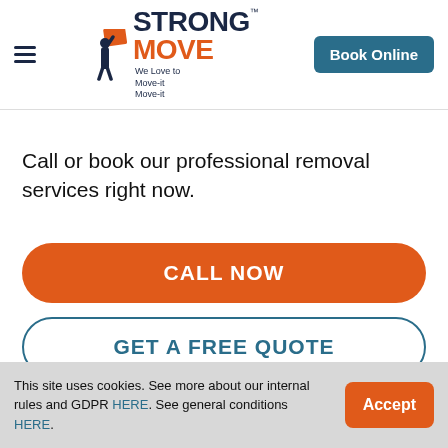Strong Move — We Love to Move-it Move-it | Book Online
Call or book our professional removal services right now.
CALL NOW
GET A FREE QUOTE
This site uses cookies. See more about our internal rules and GDPR HERE. See general conditions HERE. | Accept